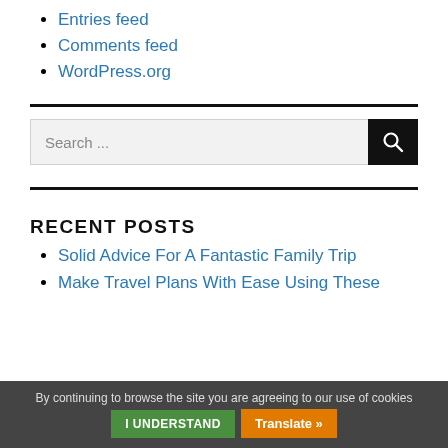Entries feed
Comments feed
WordPress.org
Search ...
RECENT POSTS
Solid Advice For A Fantastic Family Trip
Make Travel Plans With Ease Using These
By continuing to browse the site you are agreeing to our use of cookies
I UNDERSTAND
Translate »